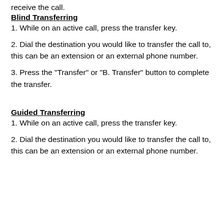receive the call.
Blind Transferring
1. While on an active call, press the transfer key.
2. Dial the destination you would like to transfer the call to, this can be an extension or an external phone number.
3. Press the "Transfer" or "B. Transfer" button to complete the transfer.
Guided Transferring
1. While on an active call, press the transfer key.
2. Dial the destination you would like to transfer the call to, this can be an extension or an external phone number.